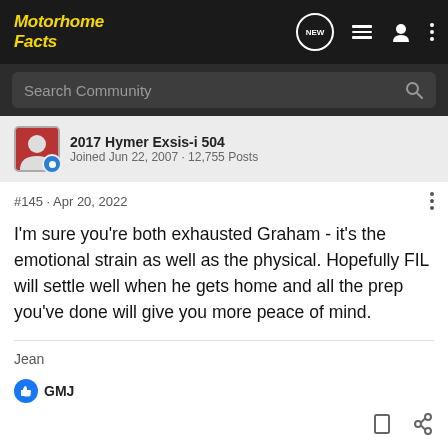Motorhome Facts
Search Community
2017 Hymer Exsis-i 504
Joined Jun 22, 2007 · 12,755 Posts
#145 · Apr 20, 2022
I'm sure you're both exhausted Graham - it's the emotional strain as well as the physical. Hopefully FIL will settle well when he gets home and all the prep you've done will give you more peace of mind.
Jean
GMJ